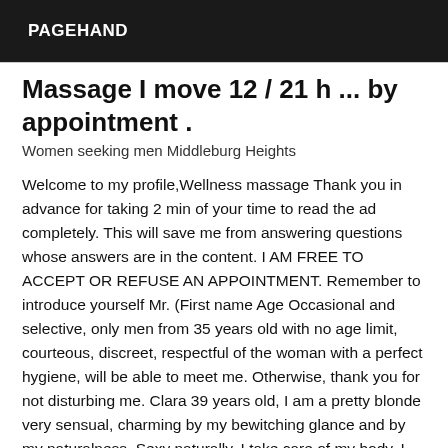PAGEHAND
Massage I move 12 / 21 h ... by appointment .
Women seeking men Middleburg Heights
Welcome to my profile,Wellness massage Thank you in advance for taking 2 min of your time to read the ad completely. This will save me from answering questions whose answers are in the content. I AM FREE TO ACCEPT OR REFUSE AN APPOINTMENT. Remember to introduce yourself Mr. (First name Age Occasional and selective, only men from 35 years old with no age limit, courteous, discreet, respectful of the woman with a perfect hygiene, will be able to meet me. Otherwise, thank you for not disturbing me. Clara 39 years old, I am a pretty blonde very sensual, charming by my bewitching glance and by my naturalness. Sexy naturally, I take care of my body, I have very soft skin, and manicured hands. The best experience plays for my visit, I...